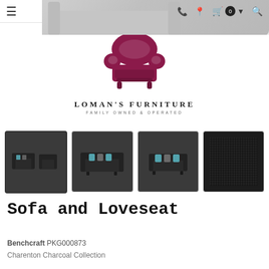Loman's Furniture — Family Owned & Operated
[Figure (logo): Loman's Furniture logo: dark red/maroon armchair illustration above text 'LOMAN'S FURNITURE' and 'FAMILY OWNED & OPERATED']
[Figure (photo): Four product thumbnail images: first (active/selected) shows a dark charcoal sofa and loveseat set; second shows a dark sofa with teal/patterned pillows; third shows a loveseat with teal/patterned pillows; fourth shows a close-up of charcoal fabric texture]
Sofa and Loveseat
Benchcraft PKG000873
Charenton Charcoal Collection